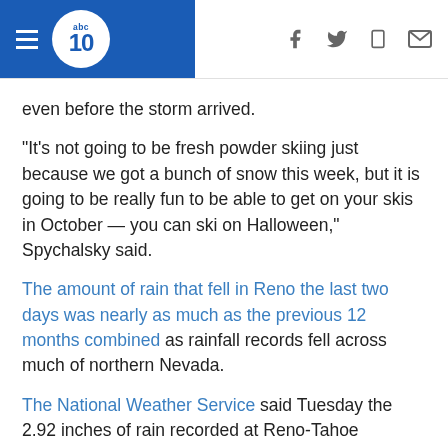ABC10 news website header with navigation icons
even before the storm arrived.
"It's not going to be fresh powder skiing just because we got a bunch of snow this week, but it is going to be really fun to be able to get on your skis in October — you can ski on Halloween," Spychalsky said.
The amount of rain that fell in Reno the last two days was nearly as much as the previous 12 months combined as rainfall records fell across much of northern Nevada.
The National Weather Service said Tuesday the 2.92 inches of rain recorded at Reno-Tahoe International Airport Sunday and Monday was the highest two-day total ever in October. It was just .09 inch shy of rainfall for the entire previous water year running Oct. 1, 2020, to Sept. 30, 2021.
Other new records included one that stood for 125 years in Ely, where 1.05 inches smashed the old mark of .25 set in